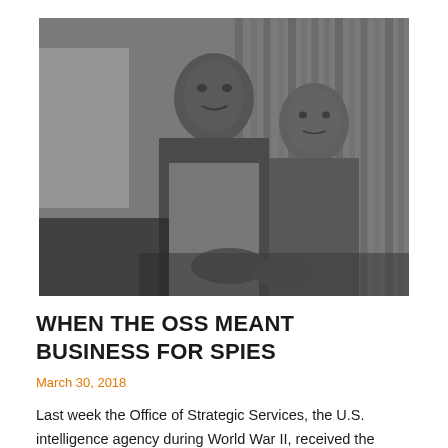[Figure (photo): Black and white photograph of two men appearing to be seated together, one in the foreground and one slightly behind, in what looks like a wartime or rustic setting with wooden walls in the background.]
WHEN THE OSS MEANT BUSINESS FOR SPIES
March 30, 2018
Last week the Office of Strategic Services, the U.S. intelligence agency during World War II, received the highest Congressional honor. My new post on